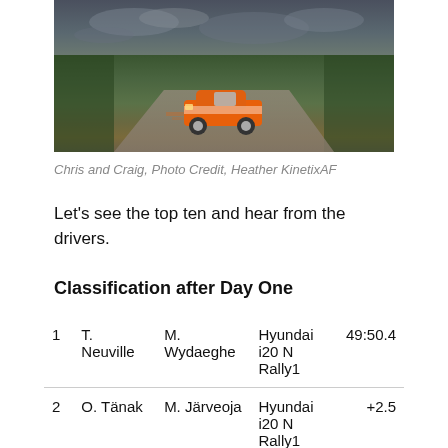[Figure (photo): Rally car (orange and white livery) driving on a road past green fields under a cloudy sky]
Chris and Craig, Photo Credit, Heather KinetixAF
Let's see the top ten and hear from the drivers.
Classification after Day One
|  | Driver | Co-driver | Car | Time |
| --- | --- | --- | --- | --- |
| 1 | T. Neuville | M. Wydaeghe | Hyundai i20 N Rally1 | 49:50.4 |
| 2 | O. Tänak | M. Järveoja | Hyundai i20 N Rally1 | +2.5 |